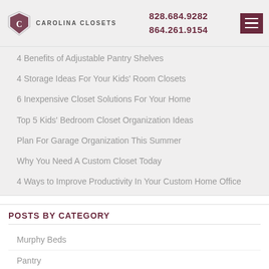Carolina Closets | 828.684.9282 | 864.261.9154
4 Benefits of Adjustable Pantry Shelves
4 Storage Ideas For Your Kids' Room Closets
6 Inexpensive Closet Solutions For Your Home
Top 5 Kids' Bedroom Closet Organization Ideas
Plan For Garage Organization This Summer
Why You Need A Custom Closet Today
4 Ways to Improve Productivity In Your Custom Home Office
POSTS BY CATEGORY
Murphy Beds
Pantry